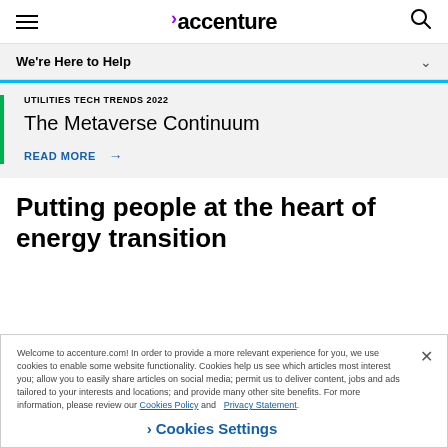accenture
We're Here to Help
UTILITIES TECH TRENDS 2022
The Metaverse Continuum
READ MORE →
Putting people at the heart of energy transition
Welcome to accenture.com! In order to provide a more relevant experience for you, we use cookies to enable some website functionality. Cookies help us see which articles most interest you; allow you to easily share articles on social media; permit us to deliver content, jobs and ads tailored to your interests and locations; and provide many other site benefits. For more information, please review our Cookies Policy and Privacy Statement.
❯ Cookies Settings